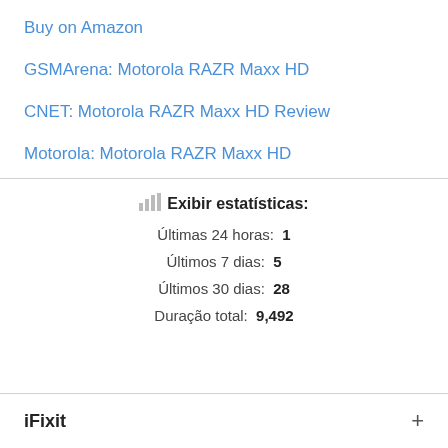Buy on Amazon
GSMArena: Motorola RAZR Maxx HD
CNET: Motorola RAZR Maxx HD Review
Motorola: Motorola RAZR Maxx HD
Exibir estatísticas:
Últimas 24 horas: 1
Últimos 7 dias: 5
Últimos 30 dias: 28
Duração total: 9,492
iFixit +